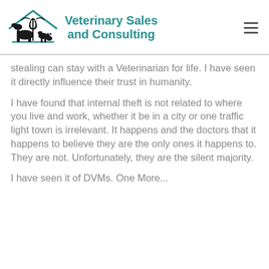[Figure (logo): Veterinary Sales and Consulting logo with silhouettes of animals (horse, dog, cat) and a caduceus symbol under a house roof outline, with teal brand name text]
stealing can stay with a Veterinarian for life. I have seen it directly influence their trust in humanity.
I have found that internal theft is not related to where you live and work, whether it be in a city or one traffic light town is irrelevant. It happens and the doctors that it happens to believe they are the only ones it happens to. They are not. Unfortunately, they are the silent majority.
I have seen it of DVMs, One More...